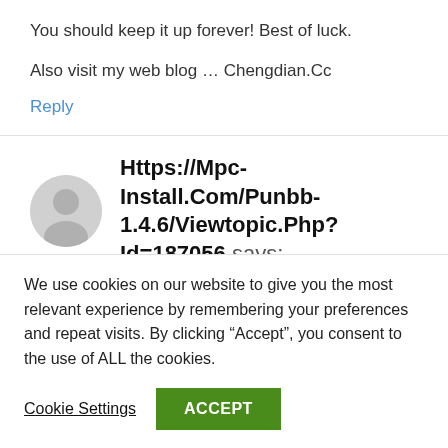You should keep it up forever! Best of luck.
Also visit my web blog … Chengdian.Cc
Reply
Https://Mpc-Install.Com/Punbb-1.4.6/Viewtopic.Php?Id=187056 says:
We use cookies on our website to give you the most relevant experience by remembering your preferences and repeat visits. By clicking “Accept”, you consent to the use of ALL the cookies.
Cookie Settings
ACCEPT